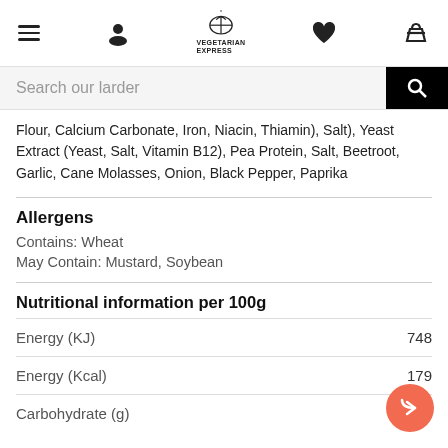Vegetarian Express — navigation bar with hamburger, user, logo, heart, basket icons
Search our larder
Flour, Calcium Carbonate, Iron, Niacin, Thiamin), Salt), Yeast Extract (Yeast, Salt, Vitamin B12), Pea Protein, Salt, Beetroot, Garlic, Cane Molasses, Onion, Black Pepper, Paprika
Allergens
Contains: Wheat
May Contain: Mustard, Soybean
Nutritional information per 100g
| Nutrient | Value |
| --- | --- |
| Energy (KJ) | 748 |
| Energy (Kcal) | 179 |
| Carbohydrate (g) |  |